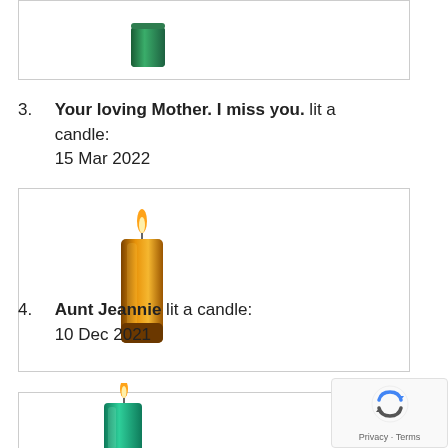[Figure (illustration): Green candle (top, partial view) inside a bordered box]
3. Your loving Mother. I miss you. lit a candle: 15 Mar 2022
[Figure (illustration): Yellow/amber lit candle inside a bordered box]
4. Aunt Jeannie lit a candle: 10 Dec 2021
[Figure (illustration): Green lit candle inside a bordered box (partially visible at bottom)]
[Figure (other): Google reCAPTCHA privacy badge with Privacy · Terms text]